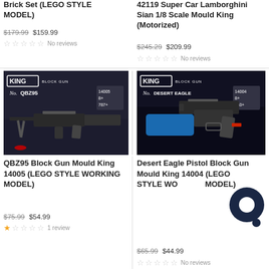Brick Set (LEGO STYLE MODEL)
$179.99 $159.99
No reviews
42119 Super Car Lamborghini Sian 1/8 Scale Mould King (Motorized)
$245.29 $209.99
No reviews
[Figure (photo): King Block Gun QBZ95 product image, model 14005, 8+, 787+ pieces]
[Figure (photo): King Block Gun Desert Eagle product image, model 14004, 8+, 563+ pieces]
QBZ95 Block Gun Mould King 14005 (LEGO STYLE WORKING MODEL)
$75.99 $54.99
1 review
Desert Eagle Pistol Block Gun Mould King 14004 (LEGO STYLE WORKING MODEL)
$65.99 $44.99
No reviews